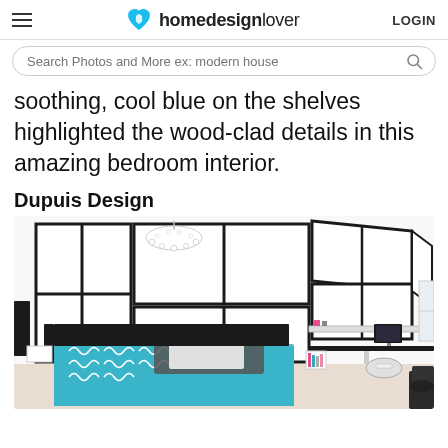homedesignlover LOGIN
Search Photos and More ex: modern house
soothing, cool blue on the shelves highlighted the wood-clad details in this amazing bedroom interior.
Dupuis Design
[Figure (photo): Modern black and white bedroom interior with built-in wardrobes, a desk with computer, chandelier, and turquoise blue patterned bedding. Clean Mondrian-style black frame details on white cabinetry.]